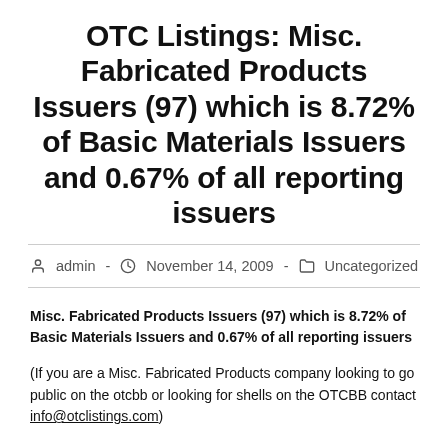OTC Listings: Misc. Fabricated Products Issuers (97) which is 8.72% of Basic Materials Issuers and 0.67% of all reporting issuers
admin  -  November 14, 2009  -  Uncategorized
Misc. Fabricated Products Issuers (97) which is 8.72% of Basic Materials Issuers and 0.67% of all reporting issuers
(If you are a Misc. Fabricated Products company looking to go public on the otcbb or looking for shells on the OTCBB contact info@otclistings.com)